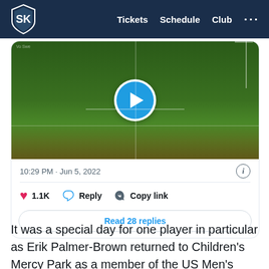Tickets  Schedule  Club  ...
[Figure (screenshot): A tweet embed showing a soccer match video thumbnail with a play button, timestamp 10:29 PM · Jun 5, 2022, with 1.1K likes, Reply, Copy link actions, and a 'Read 28 replies' button]
It was a special day for one player in particular as Erik Palmer-Brown returned to Children's Mercy Park as a member of the US Men's National Team. Palmer-Brown came up through the Sporting KC Academy, making 30